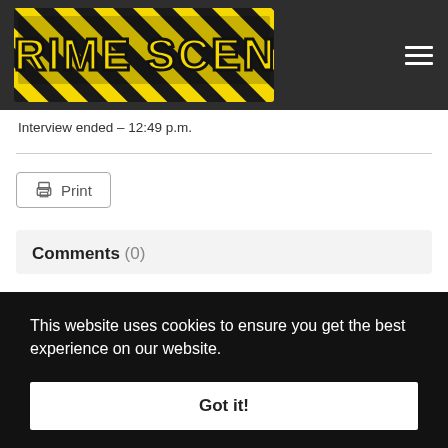[Figure (logo): Crime Scene website logo — yellow and black diagonal hazard-stripe background with bold yellow 'CRIME SCENE' text in black outline, dark header bar with hamburger menu icon]
Interview ended – 12:49 p.m.
Print
Comments (0)
This website uses cookies to ensure you get the best experience on our website.
Got it!